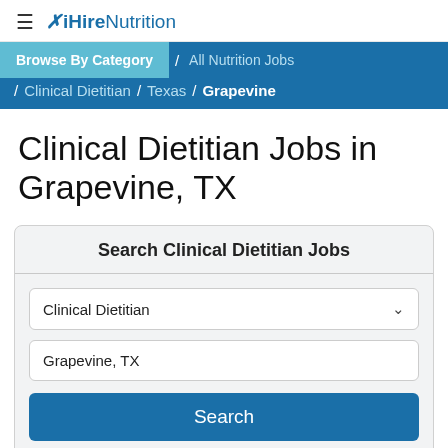≡ ✕ iHireNutrition
Browse By Category / All Nutrition Jobs / Clinical Dietitian / Texas / Grapevine
Clinical Dietitian Jobs in Grapevine, TX
Search Clinical Dietitian Jobs — Clinical Dietitian dropdown — Grapevine, TX — Search button